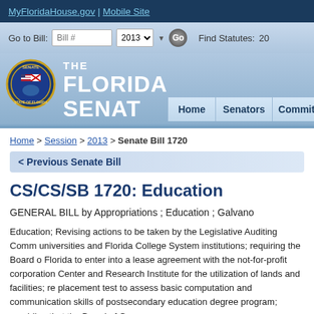MyFloridaHouse.gov | Mobile Site
[Figure (screenshot): Florida Senate website navigation bar with Go to Bill input, year selector 2013, Go button, and Find Statutes field]
[Figure (logo): Florida Senate seal logo with text THE FLORIDA SENATE and navigation tabs: Home, Senators, Committees]
Home > Session > 2013 > Senate Bill 1720
< Previous Senate Bill
CS/CS/SB 1720: Education
GENERAL BILL by Appropriations ; Education ; Galvano
Education; Revising actions to be taken by the Legislative Auditing Comm... universities and Florida College System institutions; requiring the Board of Florida to enter into a lease agreement with the not-for-profit corporation Center and Research Institute for the utilization of lands and facilities; re... placement test to assess basic computation and communication skills of postsecondary education degree program; providing that the Board of Go...